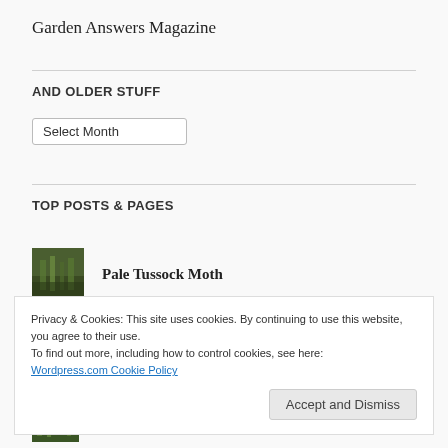Garden Answers Magazine
AND OLDER STUFF
Select Month
TOP POSTS & PAGES
Pale Tussock Moth
[Figure (photo): Small thumbnail photo of a garden scene with green grassy vegetation]
Privacy & Cookies: This site uses cookies. By continuing to use this website, you agree to their use.
To find out more, including how to control cookies, see here:
Wordpress.com Cookie Policy
Accept and Dismiss